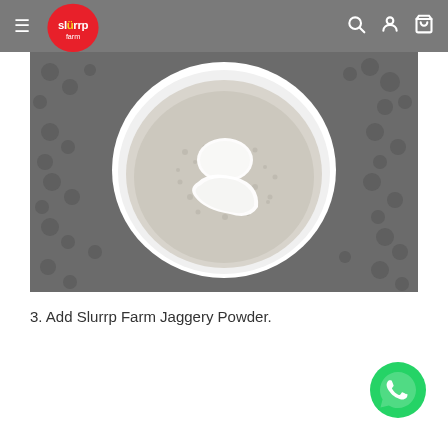Slurrp Farm - navigation bar with logo, search, account, cart icons
[Figure (photo): Top-down view of a white ceramic bowl containing flour/powder with two pieces of white jaggery/butter on a dark textured background]
3. Add Slurrp Farm Jaggery Powder.
[Figure (logo): WhatsApp green circle logo button in bottom right corner]